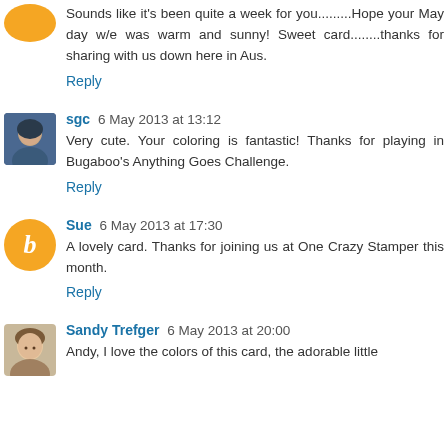Sounds like it's been quite a week for you.........Hope your May day w/e was warm and sunny! Sweet card........thanks for sharing with us down here in Aus.
Reply
sgc 6 May 2013 at 13:12
Very cute. Your coloring is fantastic! Thanks for playing in Bugaboo's Anything Goes Challenge.
Reply
Sue 6 May 2013 at 17:30
A lovely card. Thanks for joining us at One Crazy Stamper this month.
Reply
Sandy Trefger 6 May 2013 at 20:00
Andy, I love the colors of this card, the adorable little